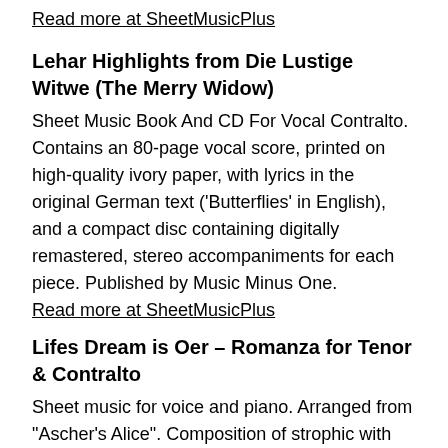Read more at SheetMusicPlus
Lehar Highlights from Die Lustige Witwe (The Merry Widow)
Sheet Music Book And CD For Vocal Contralto. Contains an 80-page vocal score, printed on high-quality ivory paper, with lyrics in the original German text ('Butterflies' in English), and a compact disc containing digitally remastered, stereo accompaniments for each piece. Published by Music Minus One.
Read more at SheetMusicPlus
Lifes Dream is Oer – Romanza for Tenor & Contralto
Sheet music for voice and piano. Arranged from "Ascher's Alice". Composition of strophic with chorus with piano and voice instrumentation.